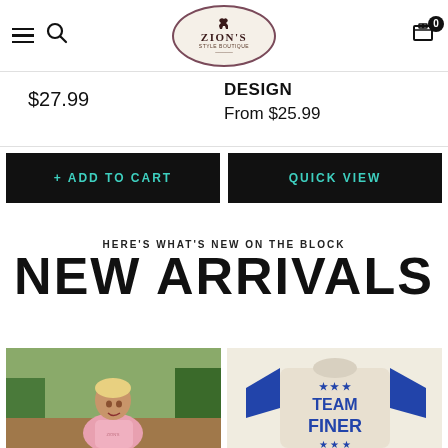Zion's — navigation header with hamburger menu, search, logo, and cart icon
$27.99
DESIGN
From $25.99
+ ADD TO CART
QUICK VIEW
HERE'S WHAT'S NEW ON THE BLOCK
NEW ARRIVALS
[Figure (photo): Woman with short blonde hair wearing a pink top, outdoors with green trees in background]
[Figure (photo): Person wearing a grey and blue raglan baseball tee with 'TEAM FINER' text and stars graphic]